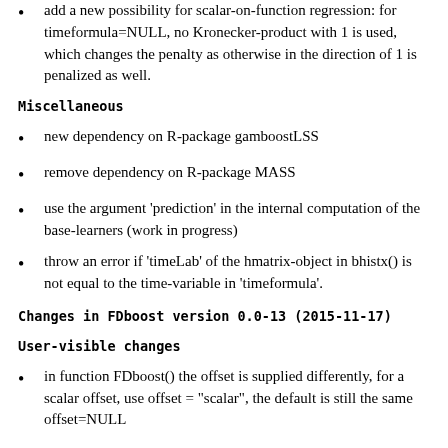add a new possibility for scalar-on-function regression: for timeformula=NULL, no Kronecker-product with 1 is used, which changes the penalty as otherwise in the direction of 1 is penalized as well.
Miscellaneous
new dependency on R-package gamboostLSS
remove dependency on R-package MASS
use the argument 'prediction' in the internal computation of the base-learners (work in progress)
throw an error if 'timeLab' of the hmatrix-object in bhistx() is not equal to the time-variable in 'timeformula'.
Changes in FDboost version 0.0-13 (2015-11-17)
User-visible changes
in function FDboost() the offset is supplied differently, for a scalar offset, use offset = "scalar", the default is still the same offset=NULL